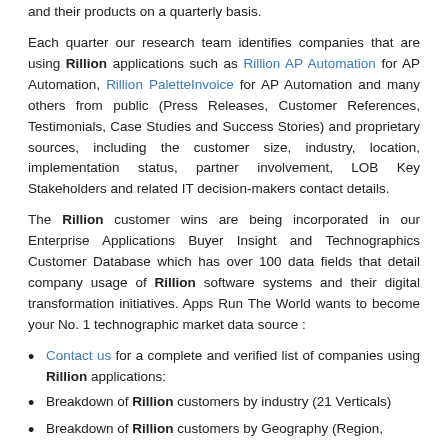and their products on a quarterly basis.
Each quarter our research team identifies companies that are using Rillion applications such as Rillion AP Automation for AP Automation, Rillion PaletteInvoice for AP Automation and many others from public (Press Releases, Customer References, Testimonials, Case Studies and Success Stories) and proprietary sources, including the customer size, industry, location, implementation status, partner involvement, LOB Key Stakeholders and related IT decision-makers contact details.
The Rillion customer wins are being incorporated in our Enterprise Applications Buyer Insight and Technographics Customer Database which has over 100 data fields that detail company usage of Rillion software systems and their digital transformation initiatives. Apps Run The World wants to become your No. 1 technographic market data source :
Contact us for a complete and verified list of companies using Rillion applications:
Breakdown of Rillion customers by industry (21 Verticals)
Breakdown of Rillion customers by Geography (Region,